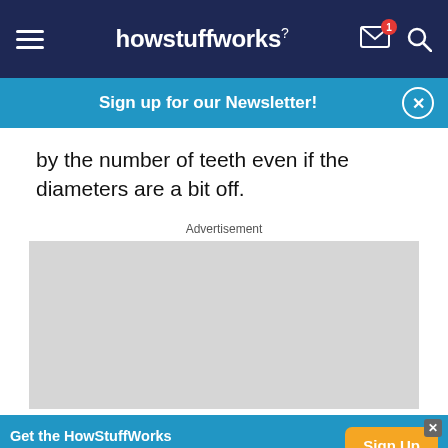howstuffworks
Sign up for our Newsletter!
by the number of teeth even if the diameters are a bit off.
Advertisement
[Figure (other): Gray advertisement placeholder box]
Get the HowStuffWorks Newsletter! Sign Up